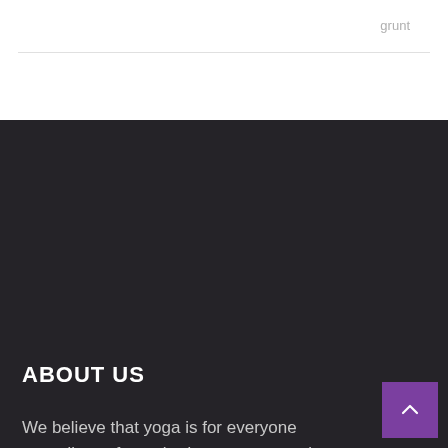grunt
ABOUT US
We believe that yoga is for everyone regardless of age, body type, or experience level.